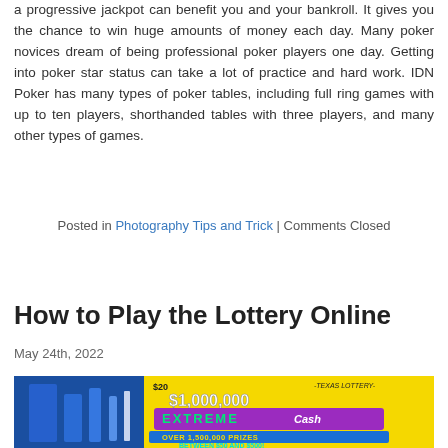a progressive jackpot can benefit you and your bankroll. It gives you the chance to win huge amounts of money each day. Many poker novices dream of being professional poker players one day. Getting into poker star status can take a lot of practice and hard work. IDN Poker has many types of poker tables, including full ring games with up to ten players, shorthanded tables with three players, and many other types of games.
Posted in Photography Tips and Trick | Comments Closed
How to Play the Lottery Online
May 24th, 2022
[Figure (photo): A lottery scratch ticket showing $1,000,000 EXTREME Cash with blue background, Texas Lottery branding, over 1,500,000 prizes between $50 and $500, winning numbers shown as S symbols in circles.]